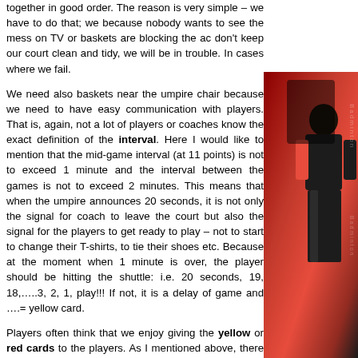together in good order.  The reason is very simple – we have to do that; we because nobody wants to see the mess on TV or baskets are blocking the ac don't keep our court clean and tidy, we will be in trouble.  In cases where we fail.
[Figure (photo): Photo of a badminton official/umpire at a tournament, with red background and Badminton branding visible]
We need also baskets near the umpire chair because we need to have easy communication with players.  That is, again, not a lot of players or coaches know the exact definition of the interval.  Here I would like to mention that the mid-game interval (at 11 points) is not to exceed 1 minute and the interval between the games is not to exceed 2 minutes.  This means that when the umpire announces 20 seconds, it is not only the signal for coach to leave the court but also the signal for the players to get ready to play – not to start to change their T-shirts, to tie their shoes etc.  Because at the moment when 1 minute is over, the player should be hitting the shuttle: i.e. 20 seconds, 19, 18,…..3, 2, 1, play!!! If not, it is a delay of game and ….= yellow card.
Players often think that we enjoy giving the yellow or red cards to the players.  As I mentioned above, there are some situations when we have to give the card even if we can understand the frustration of the player.  In case we don't give them cards or if we don't handle the player, we are in trouble.  But there are some things which are simply not allowed: throwing the racket, destroying the shuttle, using the bad words, aggressive behaviour toward any other person (line judge, umpire, service judge, opponent, spectators etc), delaying the game, ….